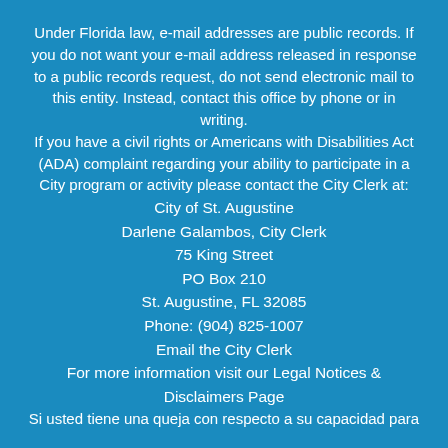Under Florida law, e-mail addresses are public records. If you do not want your e-mail address released in response to a public records request, do not send electronic mail to this entity. Instead, contact this office by phone or in writing.
If you have a civil rights or Americans with Disabilities Act (ADA) complaint regarding your ability to participate in a City program or activity please contact the City Clerk at:
City of St. Augustine
Darlene Galambos, City Clerk
75 King Street
PO Box 210
St. Augustine, FL 32085
Phone: (904) 825-1007
Email the City Clerk
For more information visit our Legal Notices & Disclaimers Page
Si usted tiene una queja con respecto a su capacidad para